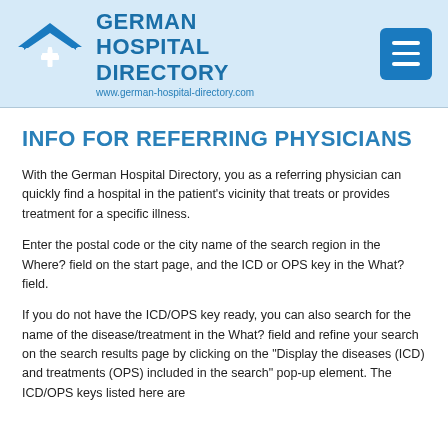[Figure (logo): German Hospital Directory logo with house/cross icon and text, plus hamburger menu button]
INFO FOR REFERRING PHYSICIANS
With the German Hospital Directory, you as a referring physician can quickly find a hospital in the patient's vicinity that treats or provides treatment for a specific illness.
Enter the postal code or the city name of the search region in the Where? field on the start page, and the ICD or OPS key in the What? field.
If you do not have the ICD/OPS key ready, you can also search for the name of the disease/treatment in the What? field and refine your search on the search results page by clicking on the "Display the diseases (ICD) and treatments (OPS) included in the search" pop-up element. The ICD/OPS keys listed here are